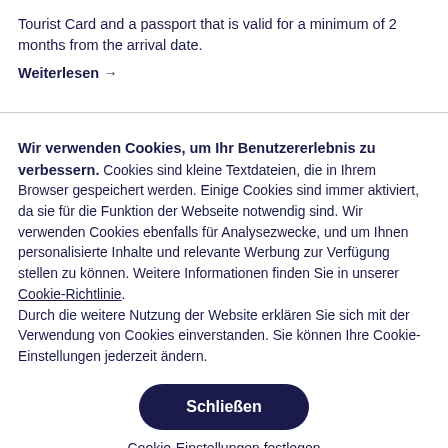Tourist Card and a passport that is valid for a minimum of 2 months from the arrival date.
Weiterlesen →
Wir verwenden Cookies, um Ihr Benutzererlebnis zu verbessern. Cookies sind kleine Textdateien, die in Ihrem Browser gespeichert werden. Einige Cookies sind immer aktiviert, da sie für die Funktion der Webseite notwendig sind. Wir verwenden Cookies ebenfalls für Analysezwecke, und um Ihnen personalisierte Inhalte und relevante Werbung zur Verfügung stellen zu können. Weitere Informationen finden Sie in unserer Cookie-Richtlinie. Durch die weitere Nutzung der Website erklären Sie sich mit der Verwendung von Cookies einverstanden. Sie können Ihre Cookie-Einstellungen jederzeit ändern.
Schließen
Cookie-Einstellungen festlegen